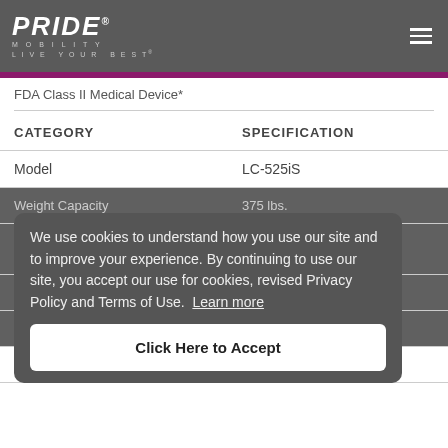PRIDE MOBILITY LIVE YOUR BEST
FDA Class II Medical Device*
| CATEGORY | SPECIFICATION |
| --- | --- |
| Model | LC-525iS |
| Weight Capacity | 375 lbs. |
| User Height Range |  |
| Seat to Floor | 19" |
| Seat Depth | 19" |
| Seat Width | 18.5" |
We use cookies to understand how you use our site and to improve your experience. By continuing to use our site, you accept our use for cookies, revised Privacy Policy and Terms of Use. Learn more
Click Here to Accept